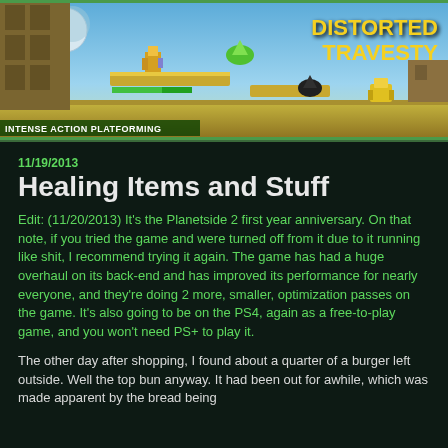[Figure (illustration): Banner image for 'Distorted Travesty' game blog showing a side-scrolling action platformer scene with characters fighting on platforms against a blue sky with moon. Text reads 'DISTORTED TRAVESTY' in yellow on right side and 'INTENSE ACTION PLATFORMING' in bottom left.]
11/19/2013
Healing Items and Stuff
Edit: (11/20/2013) It's the Planetside 2 first year anniversary. On that note, if you tried the game and were turned off from it due to it running like shit, I recommend trying it again. The game has had a huge overhaul on its back-end and has improved its performance for nearly everyone, and they're doing 2 more, smaller, optimization passes on the game. It's also going to be on the PS4, again as a free-to-play game, and you won't need PS+ to play it.
The other day after shopping, I found about a quarter of a burger left outside. Well the top bun anyway. It had been out for awhile, which was made apparent by the bread being